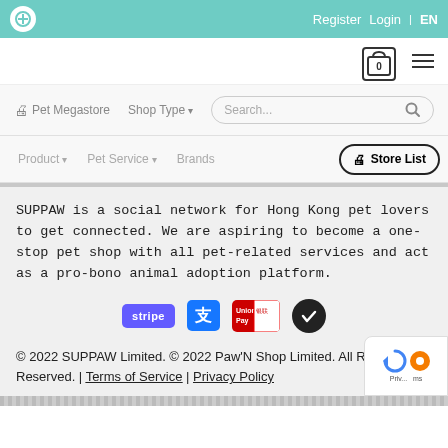Register  Login  |  EN
[Figure (screenshot): Navigation bar with cart icon showing 0 and hamburger menu]
[Figure (screenshot): Navigation row: Pet Megastore, Shop Type dropdown, Search box, Store List button]
[Figure (screenshot): Navigation row: Product dropdown, Pet Service dropdown, Brands]
SUPPAW is a social network for Hong Kong pet lovers to get connected. We are aspiring to become a one-stop pet shop with all pet-related services and act as a pro-bono animal adoption platform.
[Figure (infographic): Payment icons: Stripe, Alipay, UnionPay, checkmark badge]
© 2022 SUPPAW Limited. © 2022 Paw'N Shop Limited. All Rights Reserved. | Terms of Service | Privacy Policy
[Figure (logo): reCAPTCHA badge with Priv... and Terms text]